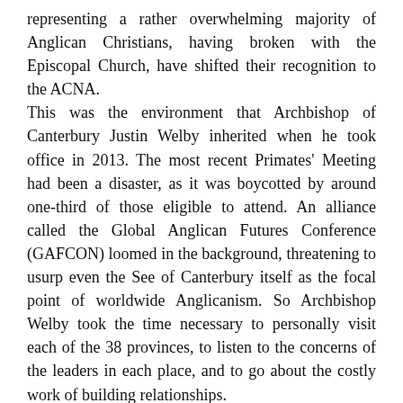representing a rather overwhelming majority of Anglican Christians, having broken with the Episcopal Church, have shifted their recognition to the ACNA. This was the environment that Archbishop of Canterbury Justin Welby inherited when he took office in 2013. The most recent Primates' Meeting had been a disaster, as it was boycotted by around one-third of those eligible to attend. An alliance called the Global Anglican Futures Conference (GAFCON) loomed in the background, threatening to usurp even the See of Canterbury itself as the focal point of worldwide Anglicanism. So Archbishop Welby took the time necessary to personally visit each of the 38 provinces, to listen to the concerns of the leaders in each place, and to go about the costly work of building relationships. Then, in the midst of these efforts, the General Convention in 2015 raised the stakes even further by changing the canons of the Episcopal Church to be gender-neutral with respect to marriage, pursuing a provisional liturgy for the